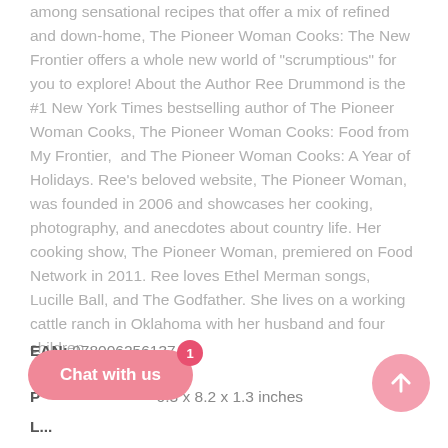among sensational recipes that offer a mix of refined and down-home, The Pioneer Woman Cooks: The New Frontier offers a whole new world of "scrumptious" for you to explore! About the Author Ree Drummond is the #1 New York Times bestselling author of The Pioneer Woman Cooks, The Pioneer Woman Cooks: Food from My Frontier, and The Pioneer Woman Cooks: A Year of Holidays. Ree's beloved website, The Pioneer Woman, was founded in 2006 and showcases her cooking, photography, and anecdotes about country life. Her cooking show, The Pioneer Woman, premiered on Food Network in 2011. Ree loves Ethel Merman songs, Lucille Ball, and The Godfather. She lives on a working cattle ranch in Oklahoma with her husband and four children.
EAN: 9780062561374
P... 0.3 x 8.2 x 1.3 inches
L...